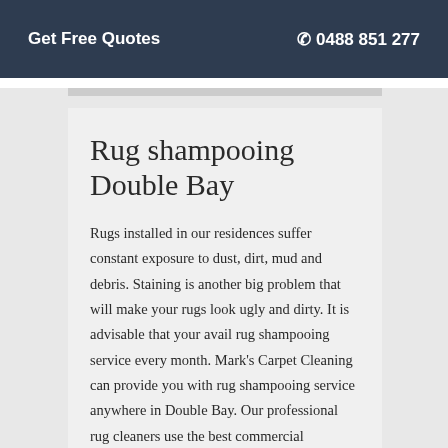Get Free Quotes   0488 851 277
Rug shampooing Double Bay
Rugs installed in our residences suffer constant exposure to dust, dirt, mud and debris. Staining is another big problem that will make your rugs look ugly and dirty. It is advisable that your avail rug shampooing service every month. Mark's Carpet Cleaning can provide you with rug shampooing service anywhere in Double Bay. Our professional rug cleaners use the best commercial shampoos